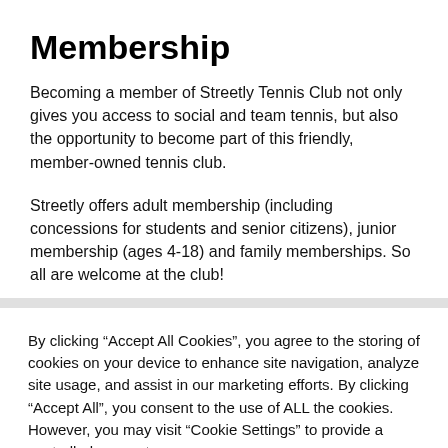Membership
Becoming a member of Streetly Tennis Club not only gives you access to social and team tennis, but also the opportunity to become part of this friendly, member-owned tennis club.
Streetly offers adult membership (including concessions for students and senior citizens), junior membership (ages 4-18) and family memberships. So all are welcome at the club!
By clicking “Accept All Cookies”, you agree to the storing of cookies on your device to enhance site navigation, analyze site usage, and assist in our marketing efforts. By clicking “Accept All”, you consent to the use of ALL the cookies. However, you may visit “Cookie Settings” to provide a controlled consent.
Cookie Settings
Accept All